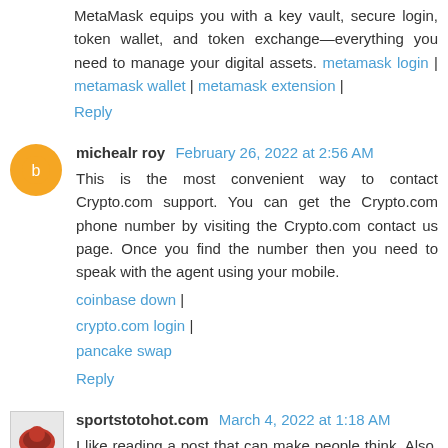MetaMask equips you with a key vault, secure login, token wallet, and token exchange—everything you need to manage your digital assets. metamask login | metamask wallet | metamask extension |
Reply
michealr roy  February 26, 2022 at 2:56 AM
This is the most convenient way to contact Crypto.com support. You can get the Crypto.com phone number by visiting the Crypto.com contact us page. Once you find the number then you need to speak with the agent using your mobile.
coinbase down |
crypto.com login |
pancake swap
Reply
sportstotohot.com  March 4, 2022 at 1:18 AM
I like reading a post that can make people think. Also, thank